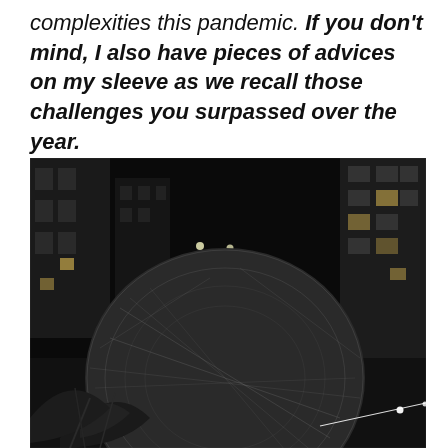complexities this pandemic. If you don't mind, I also have pieces of advices on my sleeve as we recall those challenges you surpassed over the year.
[Figure (photo): Black and white night photograph of a large spherical wicker or twig sculpture in an urban setting, surrounded by tall buildings with lit windows. Plants and grass surround the base of the sphere. A bright light streak is visible in the lower right area.]